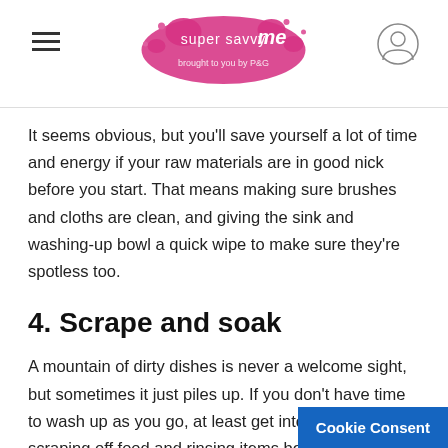super savvy me — brought to you by P&G
It seems obvious, but you'll save yourself a lot of time and energy if your raw materials are in good nick before you start. That means making sure brushes and cloths are clean, and giving the sink and washing-up bowl a quick wipe to make sure they're spotless too.
4. Scrape and soak
A mountain of dirty dishes is never a welcome sight, but sometimes it just piles up. If you don't have time to wash up as you go, at least get into the habit of scraping off food and rinsing items before putting them in the sink. Soak things like cereal bo
Cookie Consent